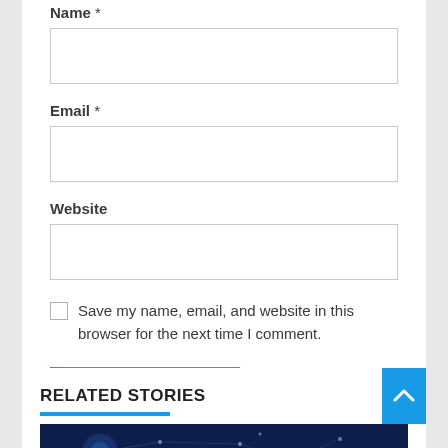Name *
Email *
Website
Save my name, email, and website in this browser for the next time I comment.
POST COMMENT
RELATED STORIES